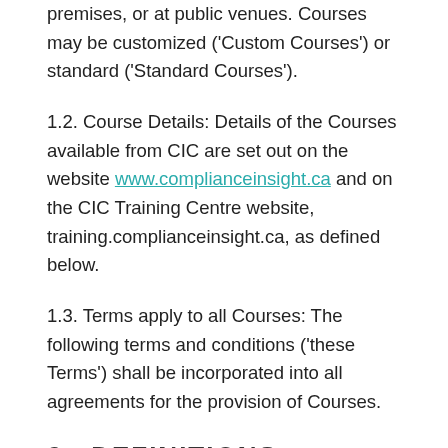premises, or at public venues. Courses may be customized ('Custom Courses') or standard ('Standard Courses').
1.2. Course Details: Details of the Courses available from CIC are set out on the website www.complianceinsight.ca and on the CIC Training Centre website, training.complianceinsight.ca, as defined below.
1.3. Terms apply to all Courses: The following terms and conditions ('these Terms') shall be incorporated into all agreements for the provision of Courses.
2. DEFINITIONS